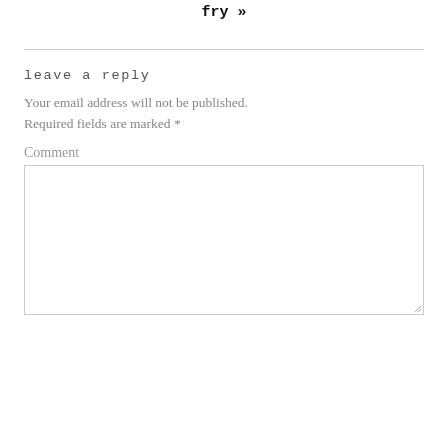fry »
leave a reply
Your email address will not be published. Required fields are marked *
Comment